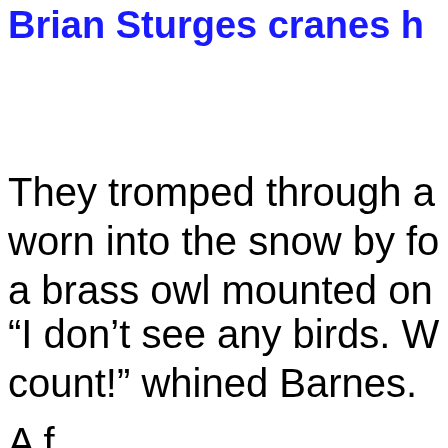Brian Sturges cranes h
They tromped through a worn into the snow by fo a brass owl mounted on
“I don’t see any birds. W count!” whined Barnes.
A f